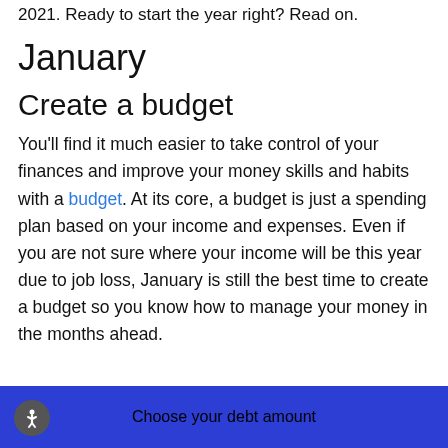2021. Ready to start the year right? Read on.
January
Create a budget
You'll find it much easier to take control of your finances and improve your money skills and habits with a budget. At its core, a budget is just a spending plan based on your income and expenses. Even if you are not sure where your income will be this year due to job loss, January is still the best time to create a budget so you know how to manage your money in the months ahead.
Choose your debt amount